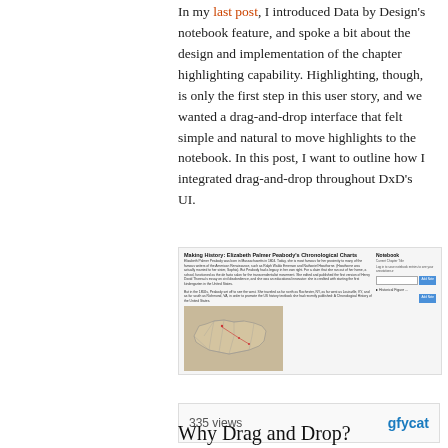In my last post, I introduced Data by Design's notebook feature, and spoke a bit about the design and implementation of the chapter highlighting capability. Highlighting, though, is only the first step in this user story, and we wanted a drag-and-drop interface that felt simple and natural to move highlights to the notebook. In this post, I want to outline how I integrated drag-and-drop throughout DxD's UI.
[Figure (screenshot): Screenshot of Data by Design web application showing a chapter titled 'Making History: Elizabeth Palmer Peabody's Chronological Charts' with body text, a Notebook panel on the right with input fields and buttons, and a historical map of the United States below. Below the screenshot is a bar showing '335 views' and the Gfycat logo.]
Why Drag and Drop?